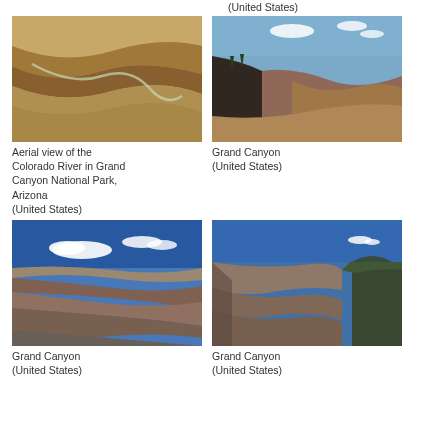(United States)
[Figure (photo): Aerial view of the Colorado River in Grand Canyon National Park, Arizona]
Aerial view of the Colorado River in Grand Canyon National Park, Arizona
(United States)
[Figure (photo): Grand Canyon view from rim with blue sky]
Grand Canyon
(United States)
[Figure (photo): Grand Canyon panoramic view with blue sky and clouds]
Grand Canyon
(United States)
[Figure (photo): Grand Canyon view with cliffs and blue sky]
Grand Canyon
(United States)